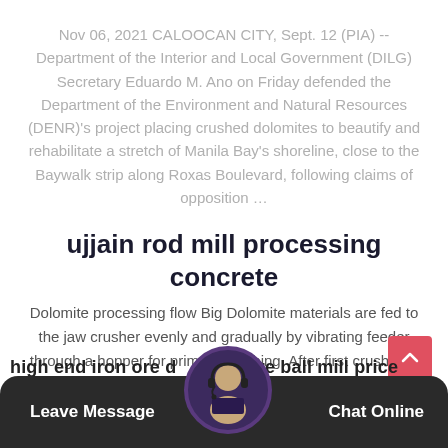Nov 06, 2021 CALOOCAN CITY, Sept. 12 (PIA) -- Department of the Interior and Local Government (DILG) Secretary Eduardo M. Ano on Friday defended the Department of the Environment and Natural Resources (DENR)'s project placing crushed dolomites to beautify and rehabilitate a stretch of Manila Bay's shoreline, close to the Baywalk strip along Roxas Boulevard, following claims of opposition …
ujjain rod mill processing concrete
Dolomite processing flow Big Dolomite materials are fed to the jaw crusher evenly and gradually by vibrating feeder through a hopper for primary crushing. After first crush, the material will transferred to impact crusher by belt conveyor for secondary crush.
high end iron ore ... ware ball mill price  |  Leave Message  |  Chat Online